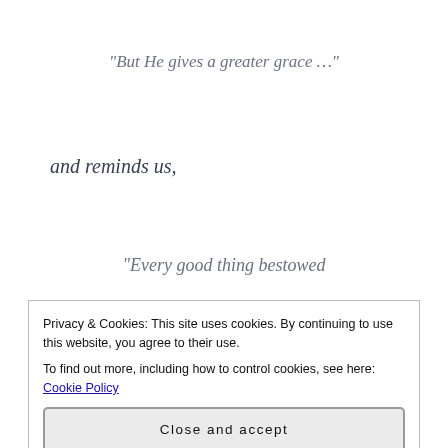“But He gives a greater grace …”
and reminds us,
“Every good thing bestowed
and every perfect gift is from above,
coming down from the Father of lights,
with whom there is no variation, or shifting shadow."
Privacy & Cookies: This site uses cookies. By continuing to use this website, you agree to their use. To find out more, including how to control cookies, see here: Cookie Policy
Close and accept